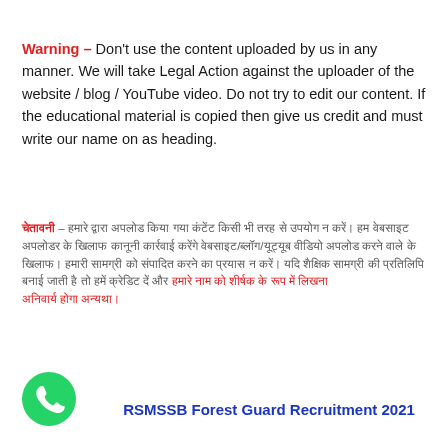Warning – Don't use the content uploaded by us in any manner. We will take Legal Action against the uploader of the website / blog / YouTube video. Do not try to edit our content. If the educational material is copied then give us credit and must write our name on as heading.
चेतावनी – हमारे द्वारा अपलोड किए गए कंटेंट का किसी भी तरह से उपयोग न करें। हम वेबसाइट / ब्लॉग / यूट्यूब वीडियो के अपलोडर के खिलाफ कानूनी कार्रवाई करेंगे। हमारी सामग्री को संपादित करने का प्रयास न करें। यदि शैक्षिक सामग्री की प्रतिलिपि बनाई जाती है तो हमें क्रेडिट दें और हमारे नाम को शीर्षक के रूप में लिखें।
[Figure (logo): WhatsApp icon button, green circle with white phone handset]
RSMSSB Forest Guard Recruitment 2021